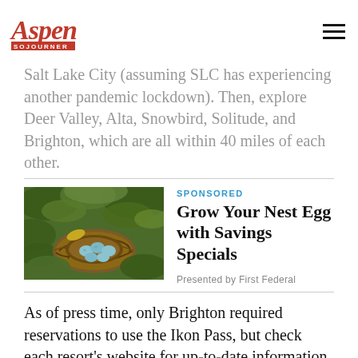Aspen Sojourner
State. Set aside a few days this winter, go midweek, and drive the six and a half hour Salt Lake City (assuming SLC has experiencing another pandemic lockdown). Then, explore Deer Valley, Alta, Snowbird, Solitude, and Brighton, which are all within 40 miles of each other.
[Figure (photo): A bird's nest with small blue eggs resting among green leaves, photographed close-up.]
SPONSORED
Grow Your Nest Egg with Savings Specials
Presented by First Federal
As of press time, only Brighton required reservations to use the Ikon Pass, but check each resort's website for up-to-date information on pass use, as well as a rundown of